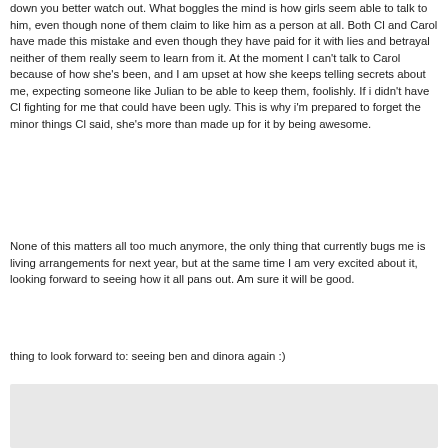down you better watch out. What boggles the mind is how girls seem able to talk to him, even though none of them claim to like him as a person at all. Both Cl and Carol have made this mistake and even though they have paid for it with lies and betrayal neither of them really seem to learn from it. At the moment I can't talk to Carol because of how she's been, and I am upset at how she keeps telling secrets about me, expecting someone like Julian to be able to keep them, foolishly. If i didn't have Cl fighting for me that could have been ugly. This is why i'm prepared to forget the minor things Cl said, she's more than made up for it by being awesome.
None of this matters all too much anymore, the only thing that currently bugs me is living arrangements for next year, but at the same time I am very excited about it, looking forward to seeing how it all pans out. Am sure it will be good.
thing to look forward to: seeing ben and dinora again :)
[Figure (other): Gray rectangle / blank area at the bottom of the page]